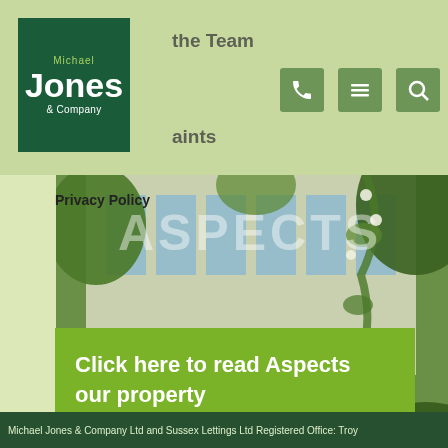[Figure (logo): Michael Jones & Company logo in dark green box with yellow-green and white text]
the Team  |  aints  |  Privacy Policy
[Figure (photo): Outdoor garden patio with wicker furniture and lush green hedges beside a building with large windows]
Click here to read Aspects our property
This website uses cookies to ensure you get the best experience on our website.
Learn more
Got it!
Michael Jones & Company Ltd and Sussex Lettings Ltd Registered Office: Troy